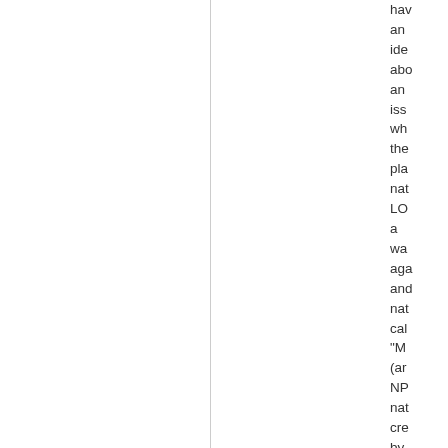have an idea about an issue whether the plan nat LO a was again and nat cal "M (an NP nat cre by me for